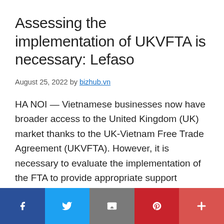Assessing the implementation of UKVFTA is necessary: Lefaso
August 25, 2022 by bizhub.vn
HA NOI — Vietnamese businesses now have broader access to the United Kingdom (UK) market thanks to the UK-Vietnam Free Trade Agreement (UKVFTA). However, it is necessary to evaluate the implementation of the FTA to provide appropriate support policies for businesses to help them fully exploit current advantages. Viet Nam News reporter Ly Ly Cao talks to Phan Thi Thanh Xuan,
[Figure (other): Social media sharing bar with Facebook, Twitter, Email, Pinterest, and More buttons]